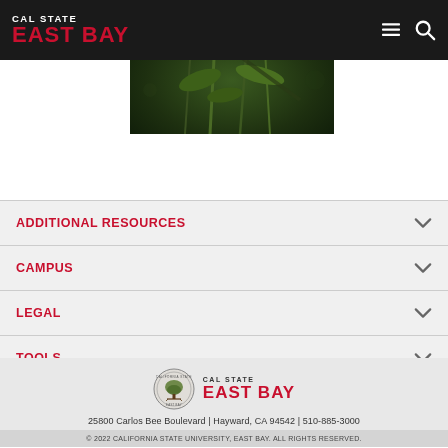CAL STATE EAST BAY
[Figure (photo): Close-up photograph of pink wildflowers (milkweed) with green stems and dark bokeh background]
ADDITIONAL RESOURCES
CAMPUS
LEGAL
TOOLS
[Figure (logo): Cal State East Bay seal and wordmark logo in footer]
25800 Carlos Bee Boulevard | Hayward, CA 94542 | 510-885-3000
© 2022 CALIFORNIA STATE UNIVERSITY, EAST BAY. ALL RIGHTS RESERVED.